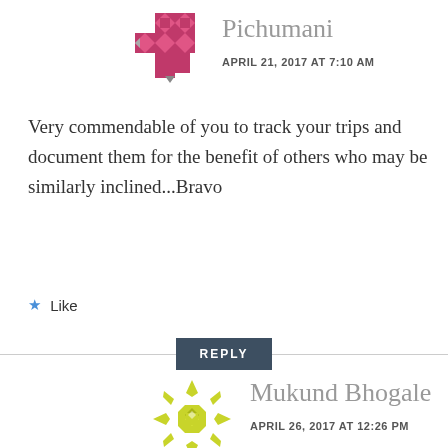[Figure (illustration): Avatar icon for Pichumani - geometric pink/magenta quilt-like pattern]
Pichumani
APRIL 21, 2017 AT 7:10 AM
Very commendable of you to track your trips and document them for the benefit of others who may be similarly inclined...Bravo
★ Like
REPLY
[Figure (illustration): Avatar icon for Mukund Bhogale - geometric yellow-green snowflake/star pattern]
Mukund Bhogale
APRIL 26, 2017 AT 12:26 PM
I dare not gather such a data about my movements knowing fully well that